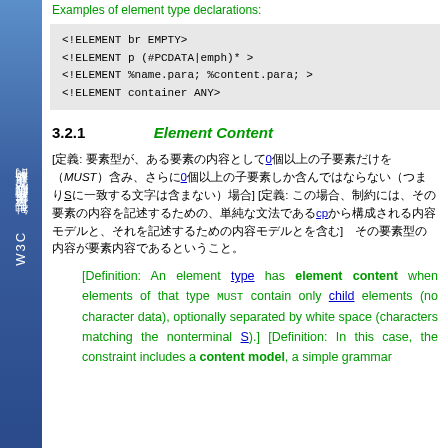Examples of element type declarations:
<!ELEMENT br EMPTY>
<!ELEMENT p (#PCDATA|emph)* >
<!ELEMENT %name.para; %content.para; >
<!ELEMENT container ANY>
3.2.1  Element Content
[Japanese text describing element content with links and MUST keyword]
[Definition: An element type has element content when elements of that type MUST contain only child elements (no character data), optionally separated by white space (characters matching the nonterminal S).] [Definition: In this case, the constraint includes a content model, a simple grammar